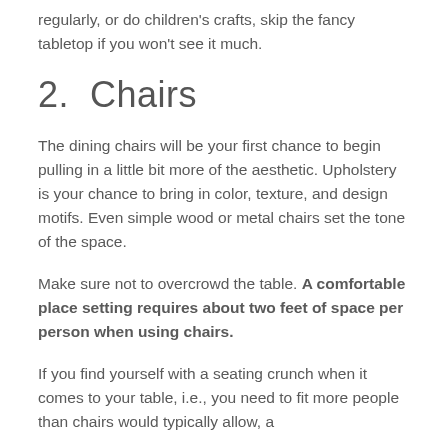regularly, or do children's crafts, skip the fancy tabletop if you won't see it much.
2.  Chairs
The dining chairs will be your first chance to begin pulling in a little bit more of the aesthetic. Upholstery is your chance to bring in color, texture, and design motifs. Even simple wood or metal chairs set the tone of the space.
Make sure not to overcrowd the table. A comfortable place setting requires about two feet of space per person when using chairs.
If you find yourself with a seating crunch when it comes to your table, i.e., you need to fit more people than chairs would typically allow, a